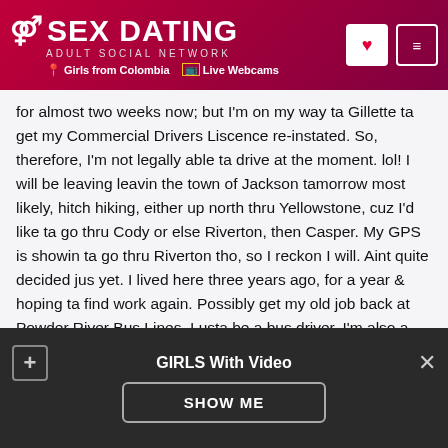SEX DATING ADULT SOCIAL NETWORK | Girls from Colombia | Live Webcams
for almost two weeks now; but I'm on my way ta Gillette ta get my Commercial Drivers Liscence re-instated. So, therefore, I'm not legally able ta drive at the moment. lol! I will be leaving leavin the town of Jackson tamorrow most likely, hitch hiking, either up north thru Yellowstone, cuz I'd like ta go thru Cody or else Riverton, then Casper. My GPS is showin ta go thru Riverton tho, so I reckon I will. Aint quite decided jus yet. I lived here three years ago, for a year & hoping ta find work again. Possibly get my old job back at Powder River Bus Lines. I usta be a bus driver. I'm also a Certified Heavy Equipment Operator & have an excellent Resume! Pardon me for sayin, but theres to many stuck up rich pricks in Jackson! Um-K then... Startin over, in a lotta ways, I reckon. Would like
GIRLS With Video | SHOW ME